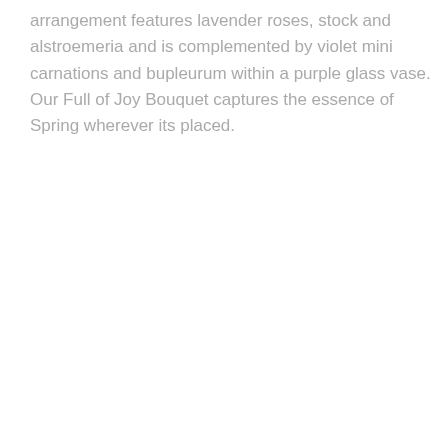arrangement features lavender roses, stock and alstroemeria and is complemented by violet mini carnations and bupleurum within a purple glass vase. Our Full of Joy Bouquet captures the essence of Spring wherever its placed.